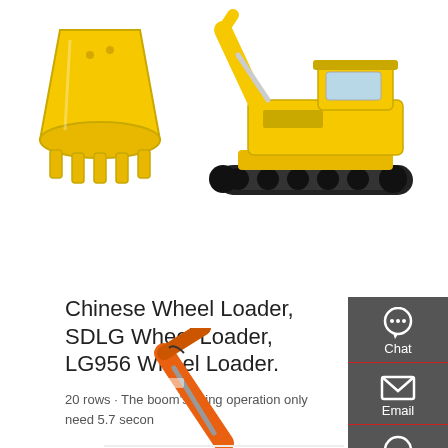[Figure (photo): Yellow excavator bucket on white background (top left)]
[Figure (photo): Yellow crawler excavator on white background (top right)]
Chinese Wheel Loader, SDLG Wheel Loader, LG956 Wheel Loader.
20 rows · The boom's lifting operation only need 5.7 seconds and the three kinds …
[Figure (other): Red 'Get a quote' button]
[Figure (other): Sidebar with Chat, Email, Contact icons on dark grey background]
[Figure (photo): Orange excavator arm/boom on white background (bottom center)]